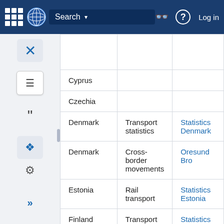| Country | Category | Source |
| --- | --- | --- |
|  |  |  |
| Cyprus |  |  |
| Czechia |  |  |
| Denmark | Transport statistics | Statistics Denmark |
| Denmark | Cross-border movements | Oresund Bro... |
| Estonia | Rail transport | Statistics Estonia |
| Finland | Transport statistics | Statistics Finland |
| Finland | Road... | Finnish... |